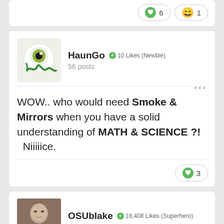[Figure (screenshot): Top portion of a forum post card showing reaction buttons: a green heart icon with count 6, and a laughing emoji with count 1]
[Figure (screenshot): Forum post card with user avatar (cartoon eye creature), username HaunGo, badge +10 Likes (Newbie), 56 posts, and post text: WOW.. who would need Smoke & Mirrors when you have a solid understanding of MATH & SCIENCE ?! Niiiiice. With a green heart reaction showing count 3.]
[Figure (screenshot): Bottom partial forum card showing user avatar (photo of man) username OSUblake, badge +18,408 Likes (Superhero), 9,196 posts]